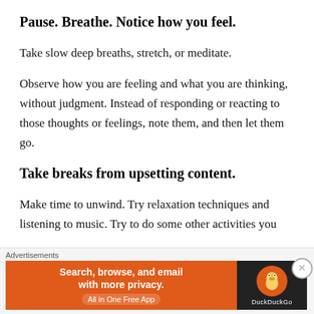Pause. Breathe. Notice how you feel.
Take slow deep breaths, stretch, or meditate.
Observe how you are feeling and what you are thinking, without judgment. Instead of responding or reacting to those thoughts or feelings, note them, and then let them go.
Take breaks from upsetting content.
Make time to unwind. Try relaxation techniques and listening to music. Try to do some other activities you
Advertisements
[Figure (screenshot): DuckDuckGo advertisement banner: orange left panel with text 'Search, browse, and email with more privacy. All in One Free App' and dark right panel with DuckDuckGo duck logo and brand name.]